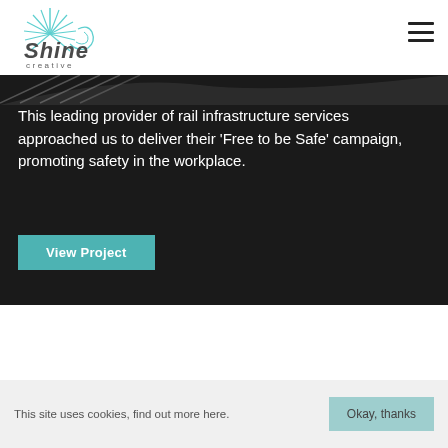[Figure (logo): Shine Creative logo with teal sun/shell design and stylized text]
[Figure (illustration): Hamburger menu icon (three horizontal lines) in top right corner]
This leading provider of rail infrastructure services approached us to deliver their ‘Free to be Safe’ campaign, promoting safety in the workplace.
View Project
This site uses cookies, find out more here.
Okay, thanks